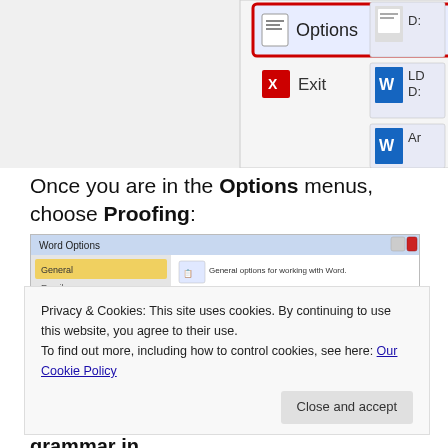[Figure (screenshot): Screenshot showing Word Options menu with 'Options' button highlighted in red, and file icons on the right side including Word documents labeled D:, LD D:, and Ar]
Once you are in the Options menus, choose Proofing:
[Figure (screenshot): Screenshot of Microsoft Word Options dialog showing General tab selected and Proofing tab highlighted with a red box. Left panel shows: General, Email, Proofing, Save, Language, Advanced, Customize Ribbon, Quick Access Toolbar, Add-Ins, Trust Center. Right panel shows General options for working with Word, User Interface options, and Personalize your copy of Microsoft Office with User name: LB and Initials: LB.]
Privacy & Cookies: This site uses cookies. By continuing to use this website, you agree to their use.
To find out more, including how to control cookies, see here: Our Cookie Policy
the section when correcting spelling and grammar in